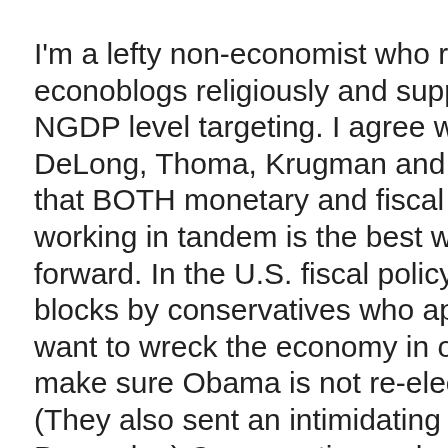I'm a lefty non-economist who reads econoblogs religiously and supports NGDP level targeting. I agree with DeLong, Thoma, Krugman and others that BOTH monetary and fiscal policy working in tandem is the best way forward. In the U.S. fiscal policy is being blocks by conservatives who apparently want to wreck the economy in order to make sure Obama is not re-elected. (They also sent an intimidating letter to Bernanke.) Conservative and Republican politicians often support Keynesian fiscal